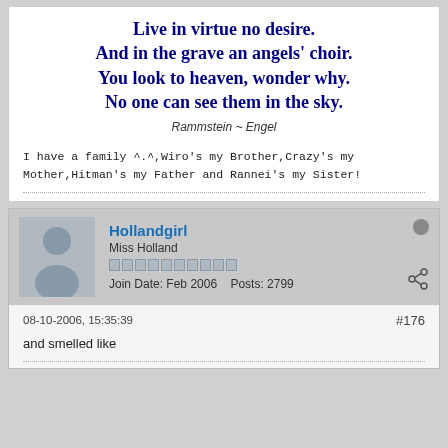Live in virtue no desire.
And in the grave an angels' choir.
You look to heaven, wonder why.
No one can see them in the sky.
Rammstein ~ Engel
I have a family ^.^,Wiro's my Brother,Crazy's my Mother,Hitman's my Father and Rannei's my Sister!
[Figure (illustration): Generic user avatar silhouette on grey background]
Hollandgirl
Miss Holland
Join Date: Feb 2006   Posts: 2799
08-10-2006, 15:35:39
#176
and smelled like